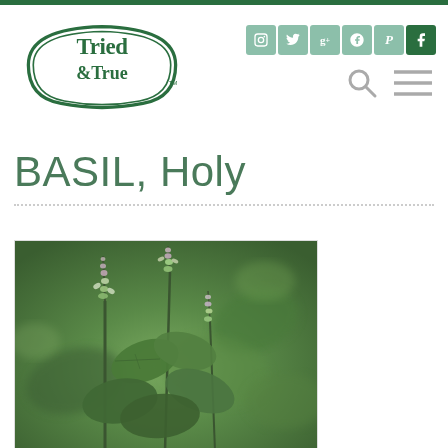Tried & True — website header with logo and social icons
BASIL, Holy
[Figure (photo): Close-up photograph of Holy Basil plant with green leaves and purple-tipped flower spikes, blurred garden background]